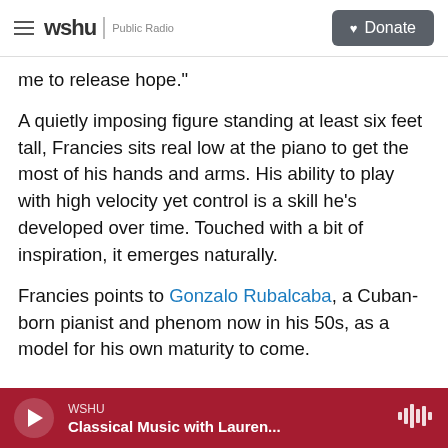wshu | Public Radio  [Donate]
me to release hope."
A quietly imposing figure standing at least six feet tall, Francies sits real low at the piano to get the most of his hands and arms. His ability to play with high velocity yet control is a skill he's developed over time. Touched with a bit of inspiration, it emerges naturally.
Francies points to Gonzalo Rubalcaba, a Cuban-born pianist and phenom now in his 50s, as a model for his own maturity to come.
WSHU — Classical Music with Lauren...